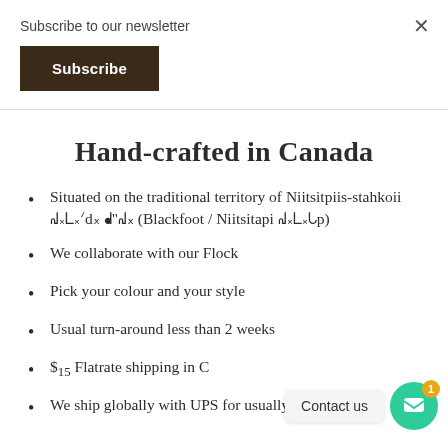Subscribe to our newsletter
Subscribe
Hand-crafted in Canada
Situated on the traditional territory of Niitsitpiis-stahkoii ᖹ᙮ᒪ᙮ᐟd᙮ ᖱ"ᖹ᙮ (Blackfoot / Niitsitapi ᖹ᙮ᒪ᙮ᒐp)
We collaborate with our Flock
Pick your colour and your style
Usual turn-around less than 2 weeks
$15 Flatrate shipping in C...
We ship globally with UPS for usually $20